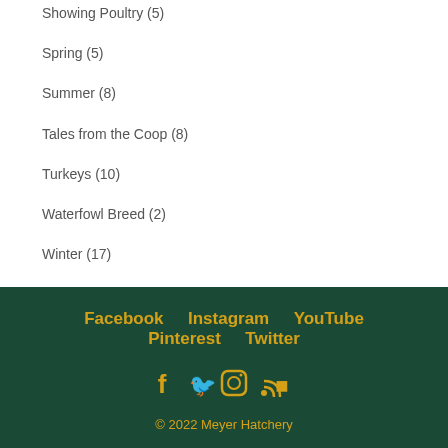Showing Poultry (5)
Spring (5)
Summer (8)
Tales from the Coop (8)
Turkeys (10)
Waterfowl Breed (2)
Winter (17)
Facebook  Instagram  YouTube  Pinterest  Twitter  © 2022 Meyer Hatchery